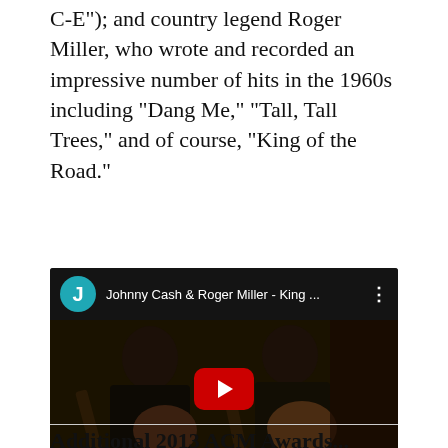C-E"); and country legend Roger Miller, who wrote and recorded an impressive number of hits in the 1960s including "Dang Me," "Tall, Tall Trees," and of course, "King of the Road."
[Figure (screenshot): YouTube video thumbnail showing Johnny Cash and Roger Miller playing guitars, with YouTube player interface including teal avatar with J, video title 'Johnny Cash & Roger Miller - King ...', and red play button in center.]
Johnny Cash & Roger Miller - King Of The Road (Johnny Cash Show) by JCashShow on YouTube
Additional 2013 ACM Awards...